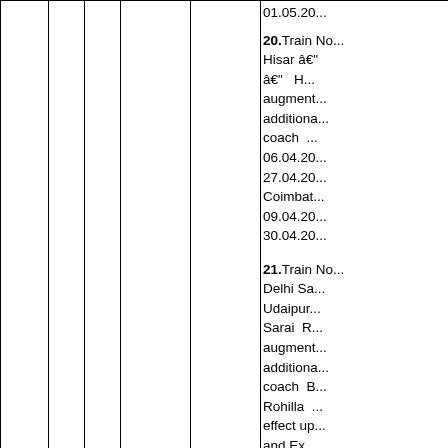|  |  |  |  |  | 01.05.20... |
|  |  |  |  |  | 20. Train No... Hisar – ... – H... augment... additional... coach ... 06.04.20... 27.04.20... Coimbat... 09.04.20... 30.04.20... |
|  |  |  |  |  | 21. Train No... Delhi Sa... Udaipur... Sarai R... augment... additional... coach B... Rohilla... effect up... and Ex... |